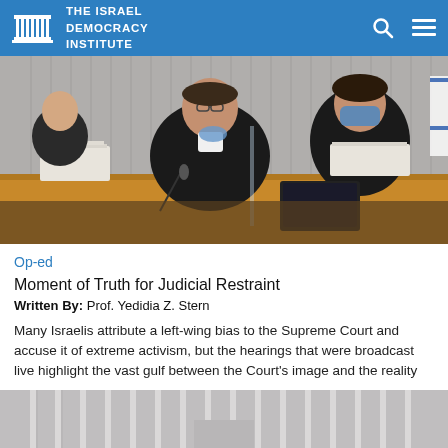THE ISRAEL DEMOCRACY INSTITUTE
[Figure (photo): Judges in black robes seated at a wooden bench in a courtroom, some wearing face masks, with papers stacked on the bench]
Op-ed
Moment of Truth for Judicial Restraint
Written By: Prof. Yedidia Z. Stern
Many Israelis attribute a left-wing bias to the Supreme Court and accuse it of extreme activism, but the hearings that were broadcast live highlight the vast gulf between the Court's image and the reality
[Figure (photo): Bottom strip showing a building exterior with vertical columns/pillars]